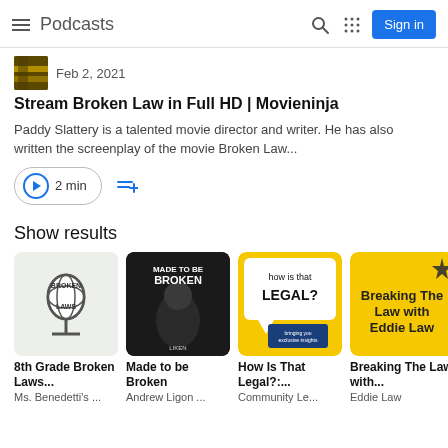Podcasts
Feb 2, 2021
Stream Broken Law in Full HD | Movieninja
Paddy Slattery is a talented movie director and writer. He has also written the screenplay of the movie Broken Law...
2 min
Show results
8th Grade Broken Laws...
Ms. Benedetti's ...
Made to be Broken
Andrew Ligon ...
How Is That Legal?:...
Community Le...
Breaking The Law with...
Eddie Law